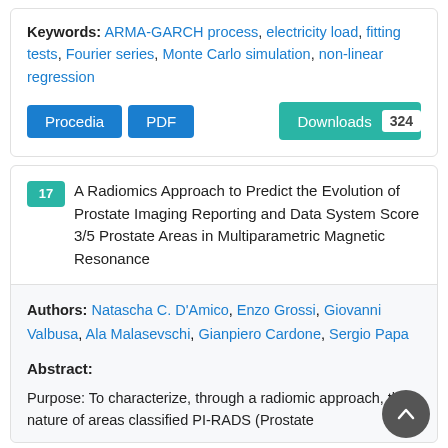Keywords: ARMA-GARCH process, electricity load, fitting tests, Fourier series, Monte Carlo simulation, non-linear regression
Procedia | PDF | Downloads 324
17 A Radiomics Approach to Predict the Evolution of Prostate Imaging Reporting and Data System Score 3/5 Prostate Areas in Multiparametric Magnetic Resonance
Authors: Natascha C. D'Amico, Enzo Grossi, Giovanni Valbusa, Ala Malasevschi, Gianpiero Cardone, Sergio Papa
Abstract:
Purpose: To characterize, through a radiomic approach, the nature of areas classified PI-RADS (Prostate